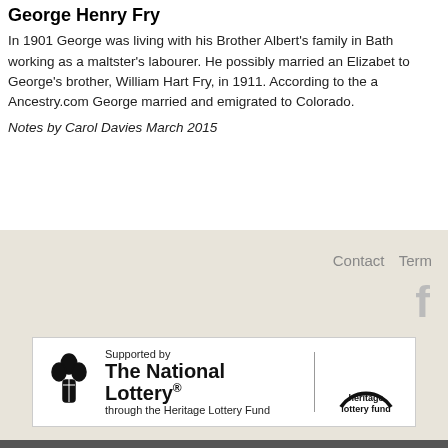George Henry Fry
In 1901 George was living with his Brother Albert's family in Bath working as a maltster's labourer. He possibly married an Elizabeth to George's brother, William Hart Fry, in 1911. According to the Ancestry.com George married and emigrated to Colorado.
Notes by Carol Davies March 2015
Contact   Terms   [Facebook icon]   The National Lottery / Heritage Lottery Fund supported banner